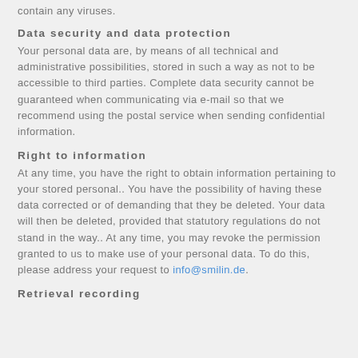contain any viruses.
Data security and data protection
Your personal data are, by means of all technical and administrative possibilities, stored in such a way as not to be accessible to third parties. Complete data security cannot be guaranteed when communicating via e-mail so that we recommend using the postal service when sending confidential information.
Right to information
At any time, you have the right to obtain information pertaining to your stored personal.. You have the possibility of having these data corrected or of demanding that they be deleted. Your data will then be deleted, provided that statutory regulations do not stand in the way.. At any time, you may revoke the permission granted to us to make use of your personal data. To do this, please address your request to info@smilin.de.
Retrieval recording